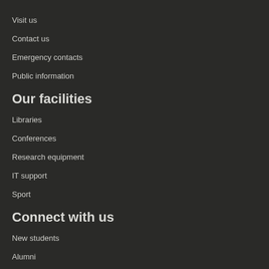Visit us
Contact us
Emergency contacts
Public information
Our facilities
Libraries
Conferences
Research equipment
IT support
Sport
Connect with us
New students
Alumni
Blogs